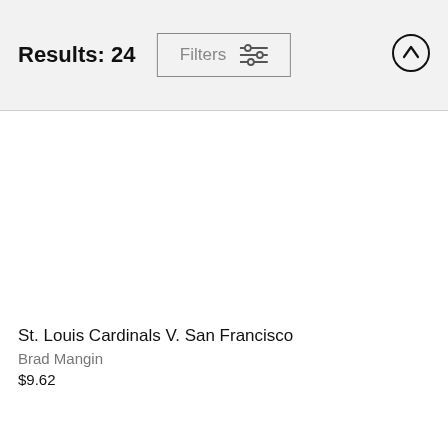Results: 24
[Figure (screenshot): Filters button with sliders icon]
[Figure (screenshot): Up arrow circle button]
St. Louis Cardinals V. San Francisco
Brad Mangin
$9.62